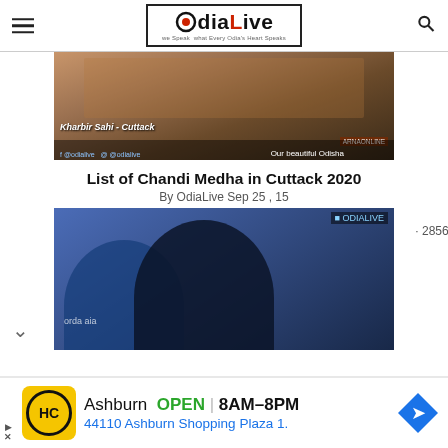OdiaLive — we speak what every Odia's Heart Speaks
[Figure (photo): Decorative display with ornamental items, text overlay showing 'Kharbir Sahi, Cuttack', and 'Our beautiful Odisha']
List of Chandi Medha in Cuttack 2020
By OdiaLive Sep 25 , 15
[Figure (photo): Two men at an event, one older wearing glasses and blue jacket, one younger in black jacket]
· 2856 views
[Figure (infographic): Advertisement banner: Ashburn OPEN 8AM-8PM, 44110 Ashburn Shopping Plaza 1., HC logo in yellow, blue navigation arrow icon]